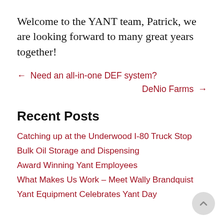Welcome to the YANT team, Patrick, we are looking forward to many great years together!
← Need an all-in-one DEF system?
DeNio Farms →
Recent Posts
Catching up at the Underwood I-80 Truck Stop
Bulk Oil Storage and Dispensing
Award Winning Yant Employees
What Makes Us Work – Meet Wally Brandquist
Yant Equipment Celebrates Yant Day